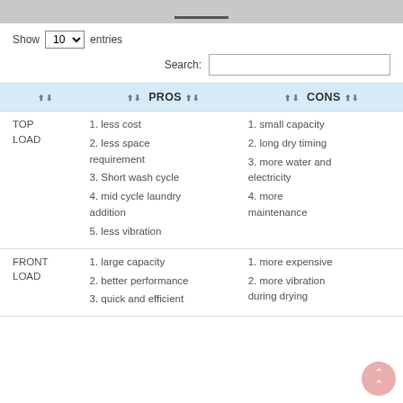[Figure (photo): Top portion of a product/appliance photo, partially cropped]
Show 10 entries
Search:
|  | PROS | CONS |
| --- | --- | --- |
| TOP LOAD | 1. less cost
2. less space requirement
3. Short wash cycle
4. mid cycle laundry addition
5. less vibration | 1. small capacity
2. long dry timing
3. more water and electricity
4. more maintenance |
| FRONT LOAD | 1. large capacity
2. better performance
3. quick and efficient | 1. more expensive
2. more vibration during drying |